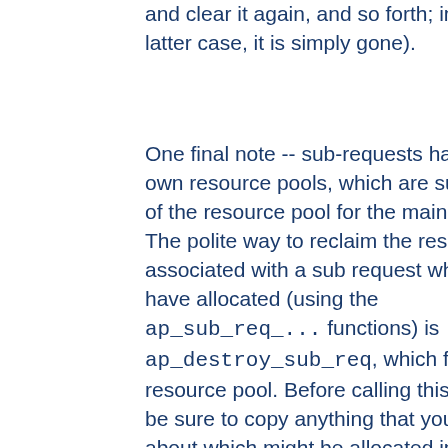and clear it again, and so forth; in the latter case, it is simply gone).
One final note -- sub-requests have their own resource pools, which are sub-pools of the resource pool for the main request. The polite way to reclaim the resources associated with a sub request which you have allocated (using the ap_sub_req_... functions) is ap_destroy_sub_req, which frees the resource pool. Before calling this function, be sure to copy anything that you care about which might be allocated in the sub-request's resource pool into someplace a little less volatile (for instance,